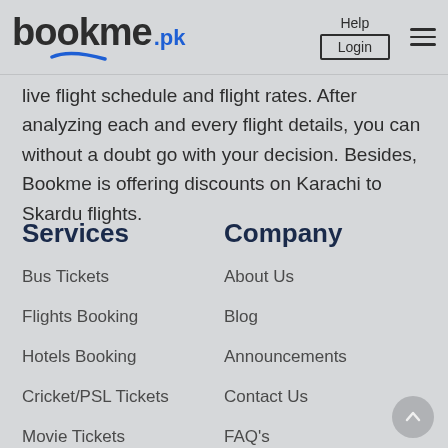[Figure (logo): bookme.pk logo with blue swoosh and .pk in blue]
Help
Login
live flight schedule and flight rates. After analyzing each and every flight details, you can without a doubt go with your decision. Besides, Bookme is offering discounts on Karachi to Skardu flights.
Services
Company
Bus Tickets
About Us
Flights Booking
Blog
Hotels Booking
Announcements
Cricket/PSL Tickets
Contact Us
Movie Tickets
FAQ's